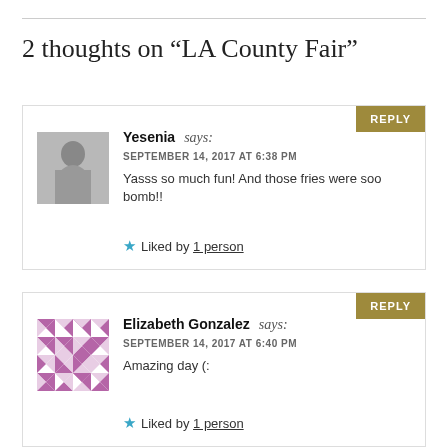2 thoughts on “LA County Fair”
Yesenia says:
SEPTEMBER 14, 2017 AT 6:38 PM
Yasss so much fun! And those fries were soo bomb!!
Liked by 1 person
Elizabeth Gonzalez says:
SEPTEMBER 14, 2017 AT 6:40 PM
Amazing day (:
Liked by 1 person